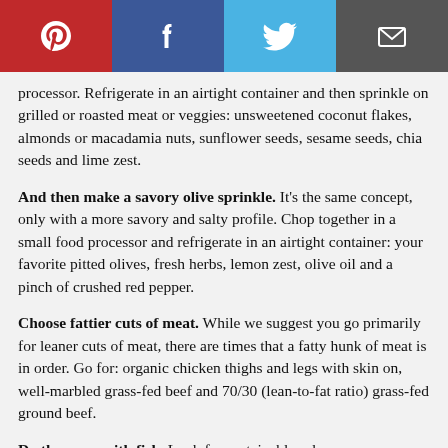[Figure (other): Social media sharing buttons: Pinterest (red), Facebook (dark blue), Twitter (light blue), Email (dark gray)]
processor. Refrigerate in an airtight container and then sprinkle on grilled or roasted meat or veggies: unsweetened coconut flakes, almonds or macadamia nuts, sunflower seeds, sesame seeds, chia seeds and lime zest.
And then make a savory olive sprinkle. It's the same concept, only with a more savory and salty profile. Chop together in a small food processor and refrigerate in an airtight container: your favorite pitted olives, fresh herbs, lemon zest, olive oil and a pinch of crushed red pepper.
Choose fattier cuts of meat. While we suggest you go primarily for leaner cuts of meat, there are times that a fatty hunk of meat is in order. Go for: organic chicken thighs and legs with skin on, well-marbled grass-fed beef and 70/30 (lean-to-fat ratio) grass-fed ground beef.
Do the same with fish. Look for sustainable salmon,